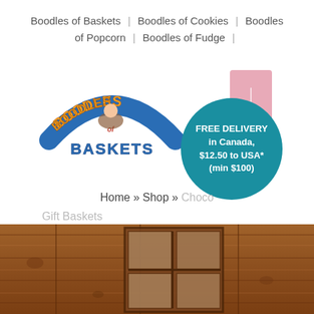Boodles of Baskets | Boodles of Cookies | Boodles of Popcorn | Boodles of Fudge |
[Figure (logo): Boodles of Baskets colorful logo with cartoon character riding a basket]
[Figure (infographic): Pink bookmark shape with teal circle badge reading: FREE DELIVERY in Canada, $12.50 to USA* (min $100)]
Home » Shop » Choco... Gift Baskets